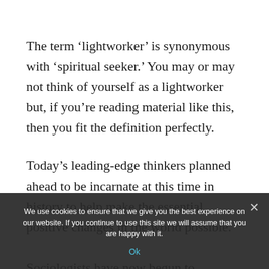The term ‘lightworker’ is synonymous with ‘spiritual seeker.’ You may or may not think of yourself as a lightworker but, if you’re reading material like this, then you fit the definition perfectly.
Today’s leading-edge thinkers planned ahead to be incarnate at this time in history to help make the essential positive changes in the world possible.
Sociologists have now begun to recognize them as a major cultural
We use cookies to ensure that we give you the best experience on our website. If you continue to use this site we will assume that you are happy with it.